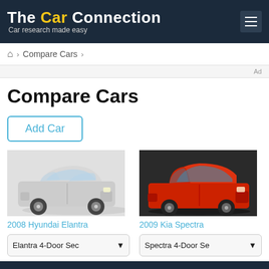The Car Connection — Car research made easy
Home > Compare Cars >
Ad
Compare Cars
Add Car
[Figure (photo): Silver 2008 Hyundai Elantra sedan, front 3/4 view]
[Figure (photo): Red 2009 Kia Spectra hatchback, front 3/4 view on dark background]
2008 Hyundai Elantra
2009 Kia Spectra
Elantra 4-Door Sec▾
Spectra 4-Door Se▾
Pricing
Invoice Price